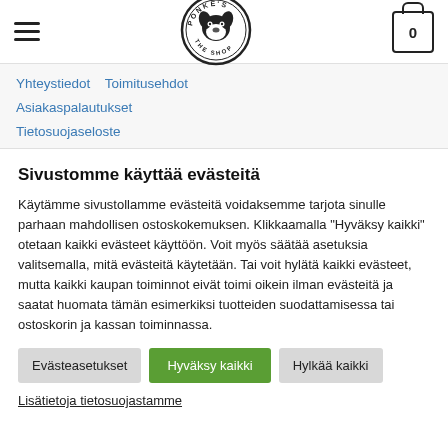[Figure (logo): Ponke's The Shop circular logo with dog illustration]
Yhteystiedot  Toimitusehdot
Asiakaspalautukset
Tietosuojaseloste
Sivustomme käyttää evästeitä
Käytämme sivustollamme evästeitä voidaksemme tarjota sinulle parhaan mahdollisen ostoskokemuksen. Klikkaamalla "Hyväksy kaikki" otetaan kaikki evästeet käyttöön. Voit myös säätää asetuksia valitsemalla, mitä evästeitä käytetään. Tai voit hylätä kaikki evästeet, mutta kaikki kaupan toiminnot eivät toimi oikein ilman evästeitä ja saatat huomata tämän esimerkiksi tuotteiden suodattamisessa tai ostoskorin ja kassan toiminnassa.
Evästeasetukset  Hyväksy kaikki  Hylkää kaikki
Lisätietoja tietosuojastamme